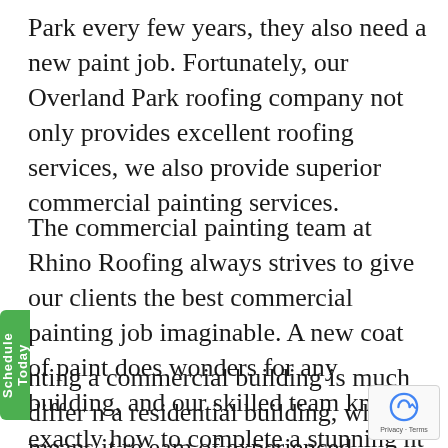Park every few years, they also need a new paint job. Fortunately, our Overland Park roofing company not only provides excellent roofing services, we also provide superior commercial painting services.
The commercial painting team at Rhino Roofing always strives to give our clients the best commercial painting job imaginable. A new coat of paint does wonders for any building, and our skilled team knows exactly how to complete a stunning nt job for any office or workspace.
nting a commercial building is much differ n a residential building, which means it re eam of experienced painters that know exactly